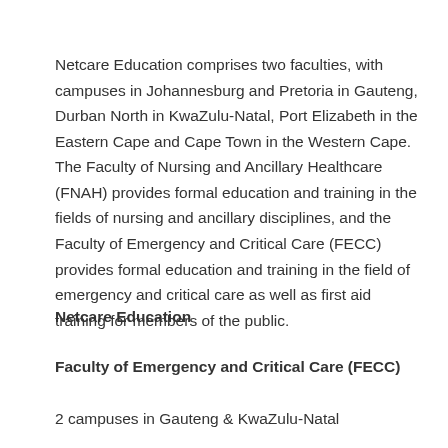Netcare Education comprises two faculties, with campuses in Johannesburg and Pretoria in Gauteng, Durban North in KwaZulu-Natal, Port Elizabeth in the Eastern Cape and Cape Town in the Western Cape. The Faculty of Nursing and Ancillary Healthcare (FNAH) provides formal education and training in the fields of nursing and ancillary disciplines, and the Faculty of Emergency and Critical Care (FECC) provides formal education and training in the field of emergency and critical care as well as first aid training for members of the public.
Netcare Education
Faculty of Emergency and Critical Care (FECC)
2 campuses in Gauteng & KwaZulu-Natal